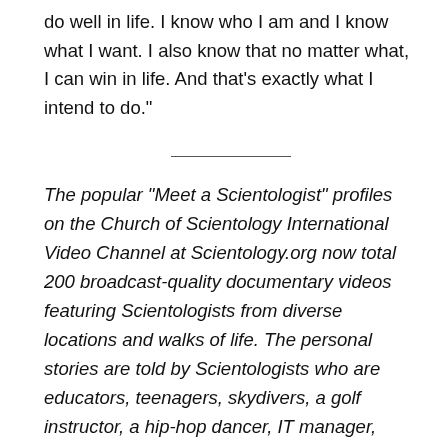do well in life. I know who I am and I know what I want. I also know that no matter what, I can win in life. And that’s exactly what I intend to do.”
The popular “Meet a Scientologist” profiles on the Church of Scientology International Video Channel at Scientology.org now total 200 broadcast-quality documentary videos featuring Scientologists from diverse locations and walks of life. The personal stories are told by Scientologists who are educators, teenagers, skydivers, a golf instructor, a hip-hop dancer, IT manager, stunt pilot, mothers, fathers, dentists, photographers, actors, musicians, fashion designers, engineers, students, business owners and more.
A digital pioneer and leader in the online religious